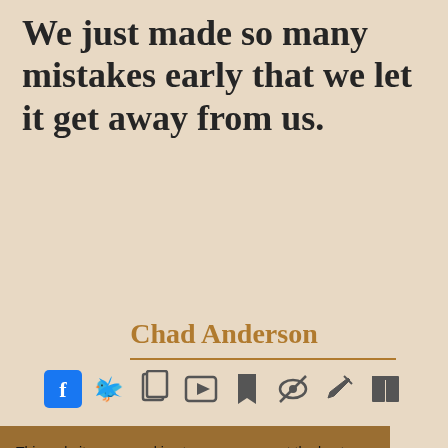We just made so many mistakes early that we let it get away from us.
Chad Anderson
[Figure (infographic): Row of social sharing/action icons: Facebook (blue square with f), Twitter (blue bird), copy/document icon, video/film icon, bookmark icon, eye-slash/hide icon, pen/edit icon, flag icon]
This website uses cookies to ensure you get the best experience on our website. Learn more
Got it!